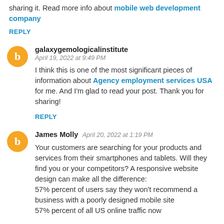sharing it. Read more info about mobile web development company
REPLY
galaxygemologicalinstitute
April 19, 2022 at 9:49 PM
I think this is one of the most significant pieces of information about Agency employment services USA for me. And I'm glad to read your post. Thank you for sharing!
REPLY
James Molly  April 20, 2022 at 1:19 PM
Your customers are searching for your products and services from their smartphones and tablets. Will they find you or your competitors? A responsive website design can make all the difference:
57% percent of users say they won't recommend a business with a poorly designed mobile site
57% percent of all US online traffic now